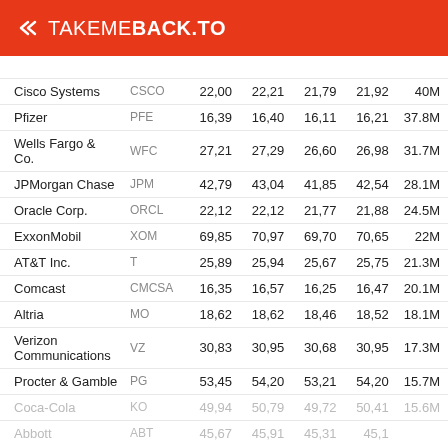TAKEMEBACK.TO
| Company | Ticker | Open | High | Low | Close | Volume |
| --- | --- | --- | --- | --- | --- | --- |
| Cisco Systems | CSCO | 22,00 | 22,21 | 21,79 | 21,92 | 40M |
| Pfizer | PFE | 16,39 | 16,40 | 16,11 | 16,21 | 37.8M |
| Wells Fargo & Co. | WFC | 27,21 | 27,29 | 26,60 | 26,98 | 31.7M |
| JPMorgan Chase | JPM | 42,79 | 43,04 | 41,85 | 42,54 | 28.1M |
| Oracle Corp. | ORCL | 22,12 | 22,12 | 21,77 | 21,88 | 24.5M |
| ExxonMobil | XOM | 69,85 | 70,97 | 69,70 | 70,65 | 22M |
| AT&T Inc. | T | 25,89 | 25,94 | 25,67 | 25,75 | 21.3M |
| Comcast | CMCSA | 16,35 | 16,57 | 16,25 | 16,47 | 20.1M |
| Altria | MO | 18,62 | 18,62 | 18,46 | 18,52 | 18.1M |
| Verizon Communications | VZ | 30,83 | 30,95 | 30,68 | 30,95 | 17.3M |
| Procter & Gamble | PG | 53,45 | 54,20 | 53,21 | 54,20 | 15.7M |
| Coca-Cola | KO | 49,94 | 50,79 | 49,72 | 50,41 | 15.6M |
| Abbott | ABT | 45,67 | 45,91 | 45,31 | 45,1 | ... |